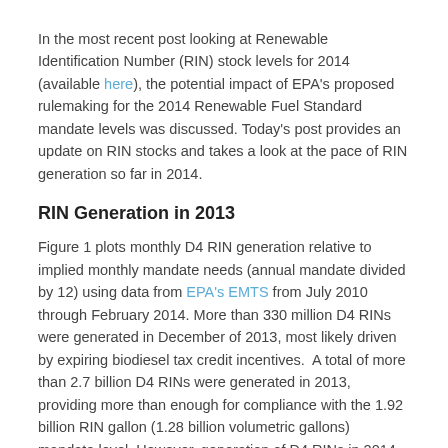In the most recent post looking at Renewable Identification Number (RIN) stock levels for 2014 (available here), the potential impact of EPA's proposed rulemaking for the 2014 Renewable Fuel Standard mandate levels was discussed. Today's post provides an update on RIN stocks and takes a look at the pace of RIN generation so far in 2014.
RIN Generation in 2013
Figure 1 plots monthly D4 RIN generation relative to implied monthly mandate needs (annual mandate divided by 12) using data from EPA's EMTS from July 2010 through February 2014. More than 330 million D4 RINs were generated in December of 2013, most likely driven by expiring biodiesel tax credit incentives.  A total of more than 2.7 billion D4 RINs were generated in 2013, providing more than enough for compliance with the 1.92 billion RIN gallon (1.28 billion volumetric gallons) mandate level. However, generation of D4 RINs in 2014 has fallen dramatically to just 137 million and 156 million RIN gallons in January and February, respectively.